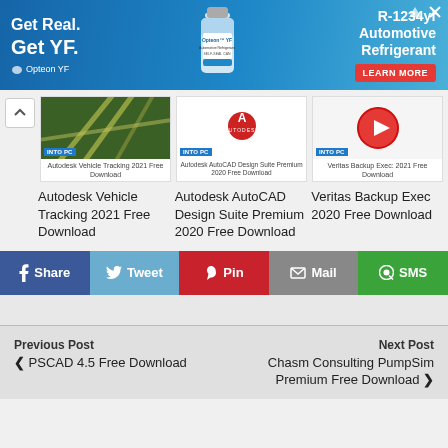[Figure (illustration): Advertisement banner for Opteon YF R-1234yf Automotive Refrigerant. Blue gradient background with 'Get Real. Get YF.' text on left, Opteon YF bottle in center, and 'R-1234yf Automotive Refrigerant' with 'LEARN MORE' button on right.]
[Figure (photo): Thumbnail image for Autodesk Vehicle Tracking 2021 showing green infrastructure/highway network]
Autodesk Vehicle Tracking 2021 Free Download
[Figure (screenshot): Thumbnail for Autodesk AutoCAD Design Suite Premium 2020 with Autodesk logo]
Autodesk AutoCAD Design Suite Premium 2020 Free Download
[Figure (screenshot): Thumbnail for Veritas Backup Exec 2020 with play button icon]
Veritas Backup Exec 2020 Free Download
Share  Tweet  Pin  Mail  SMS
Previous Post
❮ PSCAD 4.5 Free Download
Next Post
Chasm Consulting PumpSim Premium Free Download ❯